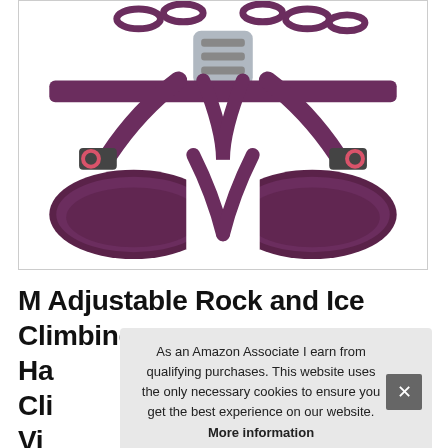[Figure (photo): A purple/burgundy climbing harness (rock and ice climbing harness) shown from the front against a white background. The harness shows padded leg loops, waist straps, and metal buckles/clips in matching purple with pink accent rings.]
Ma Adjustable Rock and Ice Climbing Harness... Vi...
As an Amazon Associate I earn from qualifying purchases. This website uses the only necessary cookies to ensure you get the best experience on our website. More information